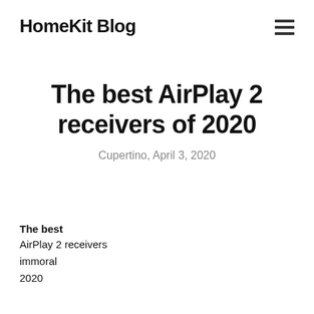HomeKit Blog
The best AirPlay 2 receivers of 2020
Cupertino, April 3, 2020
The best
AirPlay 2 receivers
immoral
2020